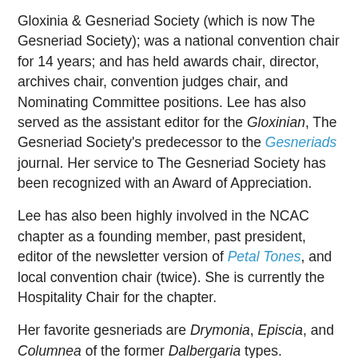Gloxinia & Gesneriad Society (which is now The Gesneriad Society); was a national convention chair for 14 years; and has held awards chair, director, archives chair, convention judges chair, and Nominating Committee positions. Lee has also served as the assistant editor for the Gloxinian, The Gesneriad Society's predecessor to the Gesneriads journal. Her service to The Gesneriad Society has been recognized with an Award of Appreciation.
Lee has also been highly involved in the NCAC chapter as a founding member, past president, editor of the newsletter version of Petal Tones, and local convention chair (twice). She is currently the Hospitality Chair for the chapter.
Her favorite gesneriads are Drymonia, Episcia, and Columnea of the former Dalbergaria types.
The show and sale are open to all--society members, chapter members, and the public. Check out the speakers schedule, peruse the sales table, or even enter your own plants into the show!